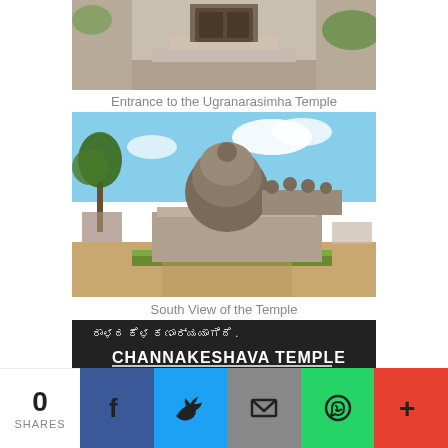[Figure (photo): Entrance to the Ugranarasimha Temple — stone steps and doorway]
Entrance to the Ugranarasimha Temple
[Figure (photo): South View of the Temple — a stone temple with ornate carved shikhara surrounded by palm trees and hedges]
South View of the Temple
[Figure (photo): Channakeshava Temple sign board in Kannada and English]
0 SHARES — Facebook, Twitter, Email, WhatsApp, More share buttons